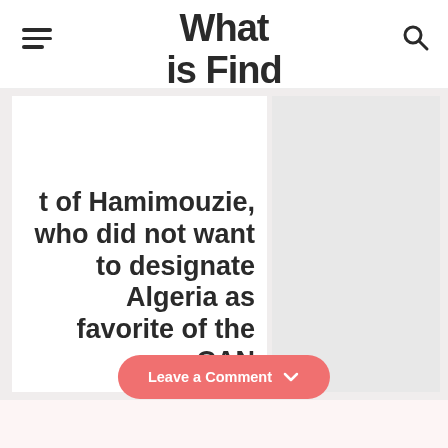What is Find
t of Hamimouzie, who did not want to designate Algeria as favorite of the CAN
Leave a Comment